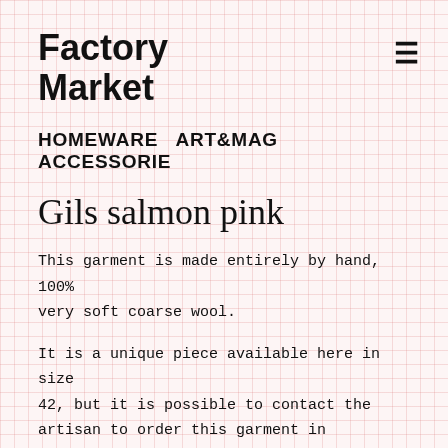Factory Market
HOMEWARE  ART&MAG  ACCESSORIE
Gils salmon pink
This garment is made entirely by hand, 100% very soft coarse wool.
It is a unique piece available here in size 42, but it is possible to contact the artisan to order this garment in different sizes or colours.